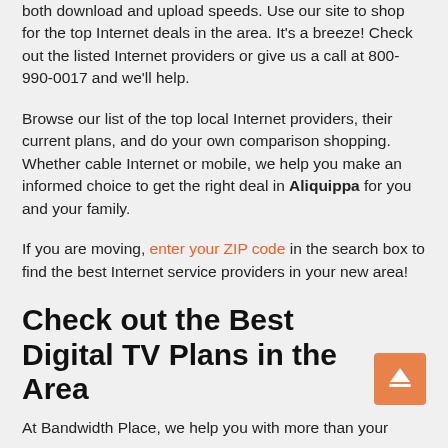both download and upload speeds. Use our site to shop for the top Internet deals in the area. It's a breeze! Check out the listed Internet providers or give us a call at 800-990-0017 and we'll help.
Browse our list of the top local Internet providers, their current plans, and do your own comparison shopping. Whether cable Internet or mobile, we help you make an informed choice to get the right deal in Aliquippa for you and your family.
If you are moving, enter your ZIP code in the search box to find the best Internet service providers in your new area!
Check out the Best Digital TV Plans in the Area
At Bandwidth Place, we help you with more than your